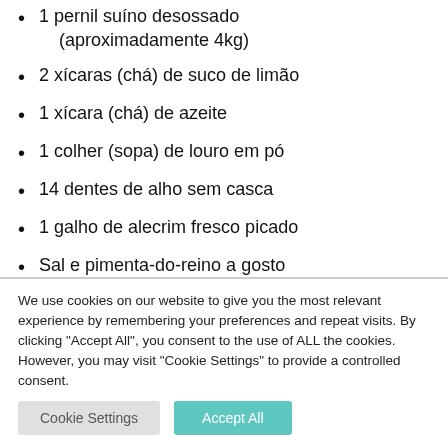1 pernil suíno desossado (aproximadamente 4kg)
2 xícaras (chá) de suco de limão
1 xícara (chá) de azeite
1 colher (sopa) de louro em pó
14 dentes de alho sem casca
1 galho de alecrim fresco picado
Sal e pimenta-do-reino a gosto
We use cookies on our website to give you the most relevant experience by remembering your preferences and repeat visits. By clicking "Accept All", you consent to the use of ALL the cookies. However, you may visit "Cookie Settings" to provide a controlled consent.